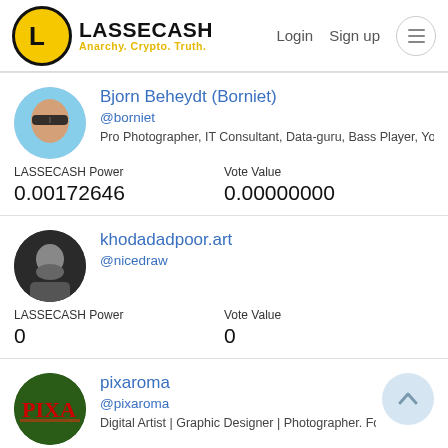LASSECASH - Anarchy. Crypto. Truth. | Login | Sign up
Bjorn Beheydt (Borniet)
@borniet
Pro Photographer, IT Consultant, Data-guru, Bass Player, Yoga
LASSECASH Power: 0.00172646 | Vote Value: 0.00000000
khodadadpoor.art
@nicedraw
LASSECASH Power: 0 | Vote Value: 0
pixaroma
@pixaroma
Digital Artist | Graphic Designer | Photographer. Follow @pixar
LASSECASH Power: 0 | Vote Value: 0